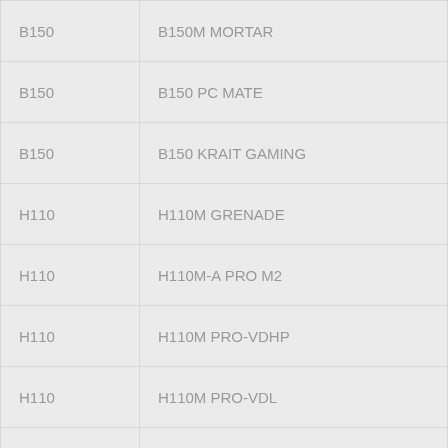| B150 | B150M MORTAR |
| B150 | B150 PC MATE |
| B150 | B150 KRAIT GAMING |
| H110 | H110M GRENADE |
| H110 | H110M-A PRO M2 |
| H110 | H110M PRO-VDHP |
| H110 | H110M PRO-VDL |
|  |  |